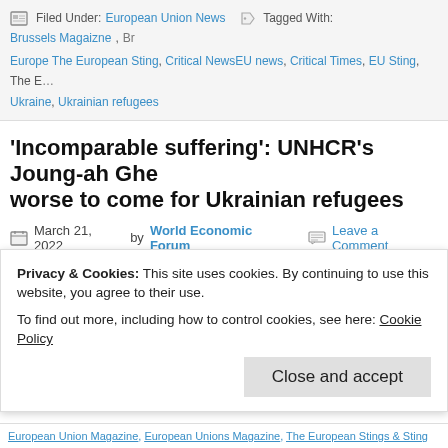Filed Under: European Union News  Tagged With: Brussels Magaizne, Br Europe The European Sting, Critical NewsEU news, Critical Times, EU Sting, The E Ukraine, Ukrainian refugees
'Incomparable suffering': UNHCR's Joung-ah Ghe worse to come for Ukrainian refugees
March 21, 2022 by World Economic Forum  Leave a Comment
[Figure (photo): People in winter clothing at what appears to be a transit station or refugee center]
This article is brought to you thanks to the collab Sting with the World Economic Forum. Author: A Editorial Lead, Head of Social Video, World Econo growing flow of people the world has ever reco
Privacy & Cookies: This site uses cookies. By continuing to use this website, you agree to their use.
To find out more, including how to control cookies, see here: Cookie Policy
European Union Magazine, European Unions Magazine, The European Stings & Sting